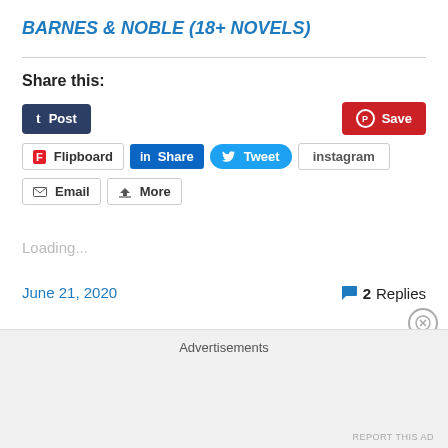BARNES & NOBLE (18+ NOVELS)
Share this:
[Figure (screenshot): Social sharing buttons: Post (Tumblr), Save (Pinterest), Flipboard, Share (LinkedIn), Tweet (Twitter), instagram, Email, More]
Loading...
June 21, 2020
2 Replies
Advertisements